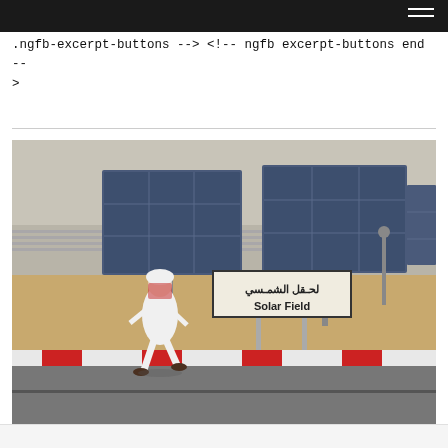Navigation bar with hamburger menu
.ngfb-excerpt-buttons --> <!-- ngfb excerpt-buttons end --> >
[Figure (photo): A man in traditional Saudi white thobe and red-checkered shemagh walks past large solar panels in a desert setting. A sign reads 'Solar Field' in English and Arabic. Multiple rows of solar panels extend into the background under a hazy sky.]